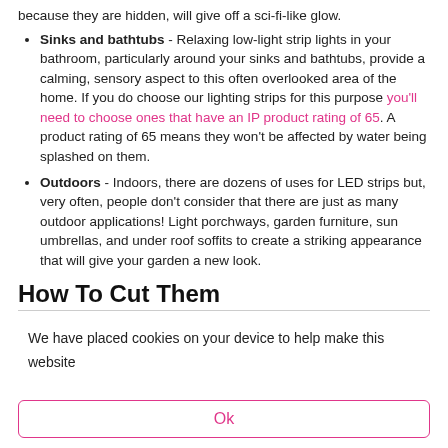because they are hidden, will give off a sci-fi-like glow.
Sinks and bathtubs - Relaxing low-light strip lights in your bathroom, particularly around your sinks and bathtubs, provide a calming, sensory aspect to this often overlooked area of the home. If you do choose our lighting strips for this purpose you'll need to choose ones that have an IP product rating of 65. A product rating of 65 means they won't be affected by water being splashed on them.
Outdoors - Indoors, there are dozens of uses for LED strips but, very often, people don't consider that there are just as many outdoor applications! Light porchways, garden furniture, sun umbrellas, and under roof soffits to create a striking appearance that will give your garden a new look.
How To Cut Them
We have placed cookies on your device to help make this website better.
Ok